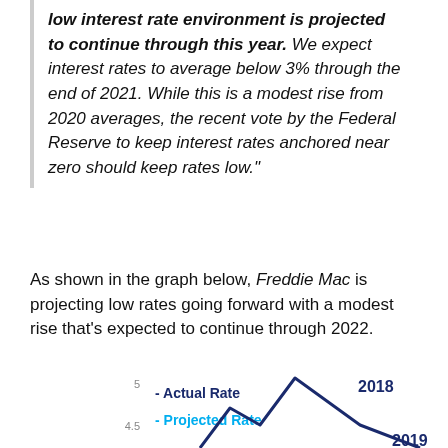low interest rate environment is projected to continue through this year. We expect interest rates to average below 3% through the end of 2021. While this is a modest rise from 2020 averages, the recent vote by the Federal Reserve to keep interest rates anchored near zero should keep rates low."
As shown in the graph below, Freddie Mac is projecting low rates going forward with a modest rise that's expected to continue through 2022.
[Figure (line-chart): Partial view of a line chart showing Actual Rate (dark navy) and Projected Rate (light blue) over time, with 2018 labeled at peak and 2019 visible at bottom right. Y-axis shows values 4.5 and 5.]